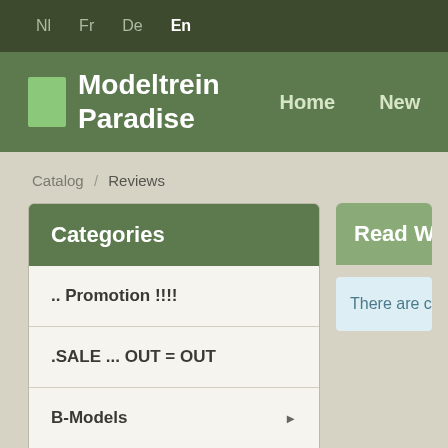Nl  Fr  De  En
Modeltrein Paradise
Home  New  Featured  Bes
Catalog / Reviews
Categories
.. Promotion !!!!
.SALE ... OUT = OUT
B-Models
N-scale ... 1/160
Read What O
There are currently n